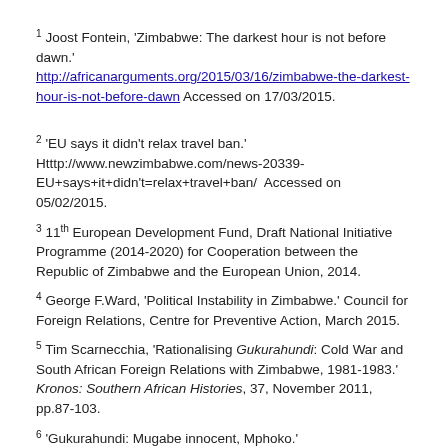1 Joost Fontein, 'Zimbabwe: The darkest hour is not before dawn.' http://africanarguments.org/2015/03/16/zimbabwe-the-darkest-hour-is-not-before-dawn Accessed on 17/03/2015.
2 'EU says it didn't relax travel ban.' Htttp://www.newzimbabwe.com/news-20339-EU+says+it+didn't=relax+travel+ban/  Accessed on 05/02/2015.
3 11th European Development Fund, Draft National Initiative Programme (2014-2020) for Cooperation between the Republic of Zimbabwe and the European Union, 2014.
4 George F.Ward, 'Political Instability in Zimbabwe.' Council for Foreign Relations, Centre for Preventive Action, March 2015.
5 Tim Scarnecchia, 'Rationalising Gukurahundi: Cold War and South African Foreign Relations with Zimbabwe, 1981-1983.' Kronos: Southern African Histories, 37, November 2011, pp.87-103.
6 'Gukurahundi: Mugabe innocent, Mphoko.' www.zimbabwesituation.com/news/zimsit-m-gukurahundi-mugabe-innocent-mphko Accessed on 02/03/2015.
7 Ward 2015...